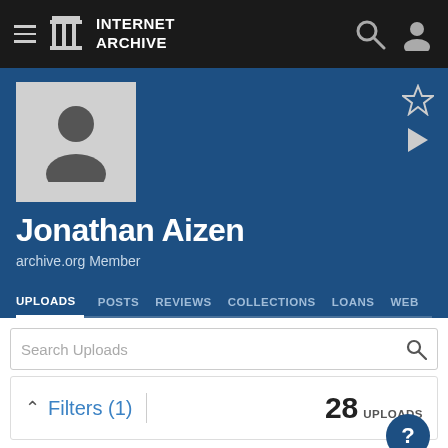INTERNET ARCHIVE
Jonathan Aizen
archive.org Member
UPLOADS
POSTS
REVIEWS
COLLECTIONS
LOANS
WEB
Search Uploads
Filters (1)   28 UPLOADS